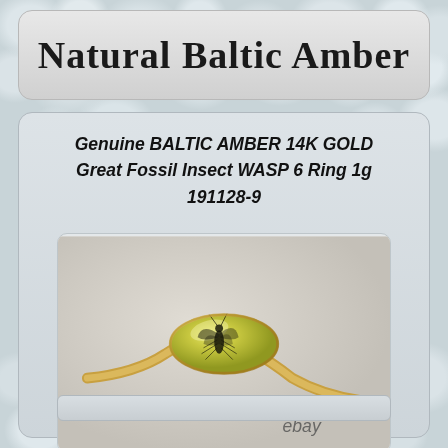Natural Baltic Amber
Genuine BALTIC AMBER 14K GOLD Great Fossil Insect WASP 6 Ring 1g 191128-9
[Figure (photo): A gold ring with an oval Baltic amber stone containing a preserved fossil wasp insect inclusion. The ring has a wavy/bypass style gold band. The amber is yellow-green translucent with a dark insect visible inside. eBay watermark in bottom right.]